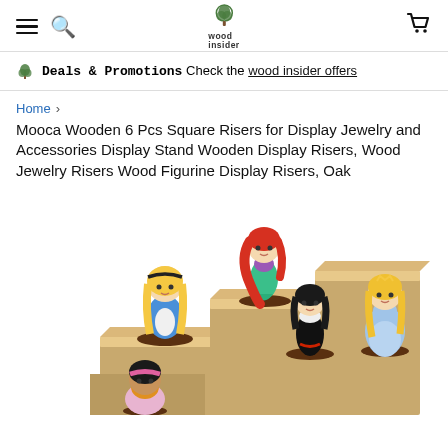wood insider — navigation header with hamburger menu, search, logo, and cart
Deals & Promotions  Check the wood insider offers
Home >
Mooca Wooden 6 Pcs Square Risers for Display Jewelry and Accessories Display Stand Wooden Display Risers, Wood Jewelry Risers Wood Figurine Display Risers, Oak
[Figure (photo): Product photo showing wooden square display risers arranged in stair-step formation with Disney princess figurines (Ariel, Alice in Wonderland, Snow White villain, Aurora/Sleeping Beauty, and two others) placed on the wooden risers]